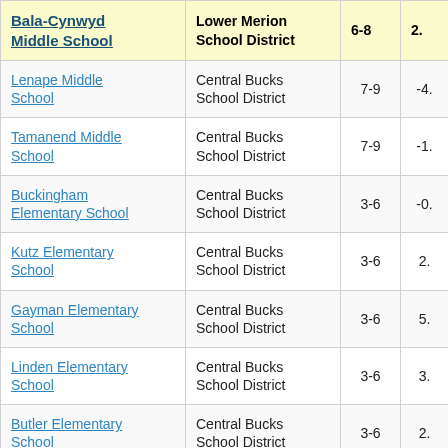| School Name | District | Grades | Value |
| --- | --- | --- | --- |
| Bala-Cynwyd Middle School | Lower Merion School District | 6-8 | 2. |
| Lenape Middle School | Central Bucks School District | 7-9 | -4. |
| Tamanend Middle School | Central Bucks School District | 7-9 | -1. |
| Buckingham Elementary School | Central Bucks School District | 3-6 | -0. |
| Kutz Elementary School | Central Bucks School District | 3-6 | 2. |
| Gayman Elementary School | Central Bucks School District | 3-6 | 5. |
| Linden Elementary School | Central Bucks School District | 3-6 | 3. |
| Butler Elementary School | Central Bucks School District | 3-6 | 2. |
| Titus Elementary | Central Bucks |  |  |